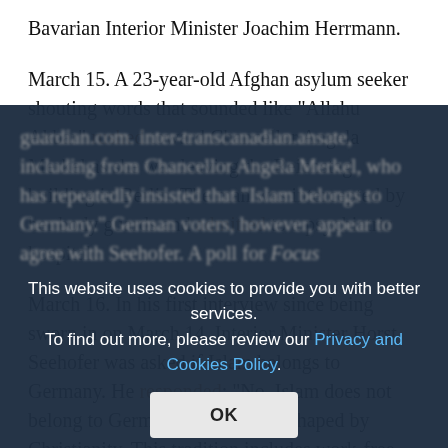Bavarian Interior Minister Joachim Herrmann.
March 15. A 23-year-old Afghan asylum seeker shouting words that sounded like "Allahu Akbar" rushed toward Chancellor Angela Merkel as she was leaving the Reichstag building in Berlin. The man was intercepted by her body guards and admitted to a psychiatric hospital.
March 16. In his first interview since being sworn in on March 14, Interior Minister Horst Seehofer was asked if Islam belongs to Germany. He responded: "No. Islam does not belong to Germany. Germany is shaped by Christianity. This tradition includes work-free Sundays and church holidays and rituals such as Easter, Pentecost and Christmas." Seehofer's remarks prompted an...
guardian.com. Inter-transcanadian.ansate, including from Chancellor Angela Merkel, who has repeatedly insisted that 'Islam belongs to Germany.' German voters, however, appear to agree with Seehofer. A poll for Focus
This website uses cookies to provide you with better services. To find out more, please review our Privacy and Cookies Policy.